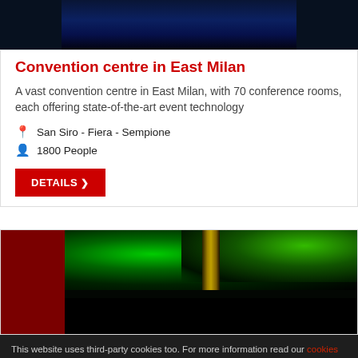[Figure (photo): Dark blue night photo of a convention venue interior]
Convention centre in East Milan
A vast convention centre in East Milan, with 70 conference rooms, each offering state-of-the-art event technology
San Siro - Fiera - Sempione
1800 People
DETAILS ❯
[Figure (photo): Night photo of a park or outdoor venue with green illuminated trees and a lit pillar]
This website uses third-party cookies too. For more information read our cookies policy. Be continuing to browse the website you accept the use of cookies.
OK